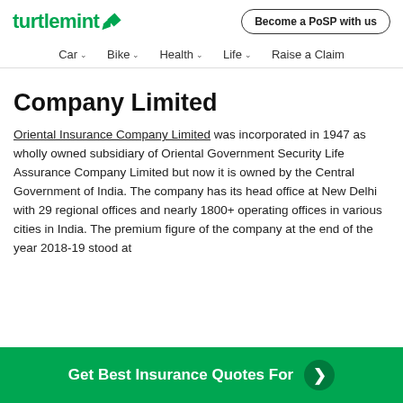turtlemint | Become a PoSP with us
Car | Bike | Health | Life | Raise a Claim
Company Limited
Oriental Insurance Company Limited was incorporated in 1947 as wholly owned subsidiary of Oriental Government Security Life Assurance Company Limited but now it is owned by the Central Government of India. The company has its head office at New Delhi with 29 regional offices and nearly 1800+ operating offices in various cities in India. The premium figure of the company at the end of the year 2018-19 stood at
Get Best Insurance Quotes For